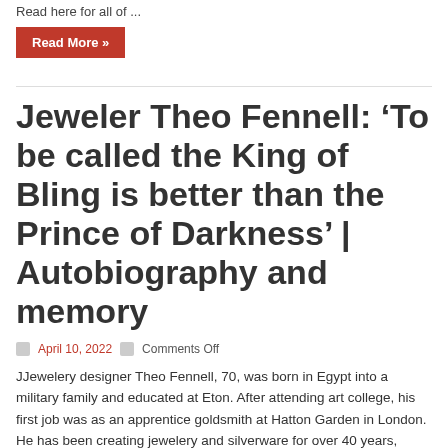Read here for all of ...
Read More »
Jeweler Theo Fennell: ‘To be called the King of Bling is better than the Prince of Darkness’ | Autobiography and memory
April 10, 2022   Comments Off
JJewelery designer Theo Fennell, 70, was born in Egypt into a military family and educated at Eton. After attending art college, his first job was as an apprentice goldsmith at Hatton Garden in London. He has been creating jewelery and silverware for over 40 years, opening his first shop in Fulham